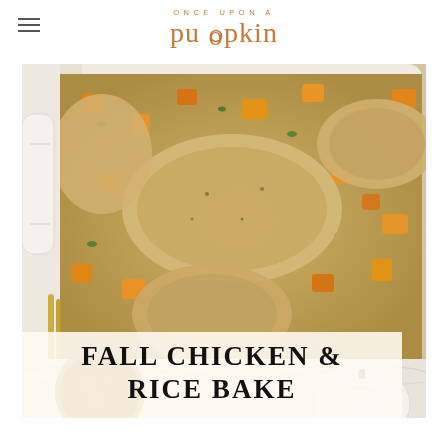ONCE UPON A pumpkin
[Figure (photo): Overhead close-up photo of a white baking dish containing chicken thighs baked over rice with diced butternut squash and fresh herbs (parsley). Golden chicken pieces visible with seasoning. Below the dish on a marble surface are small pumpkins and a round dish of brown rice. Text overlay reads FALL CHICKEN & RICE BAKE.]
FALL CHICKEN & RICE BAKE